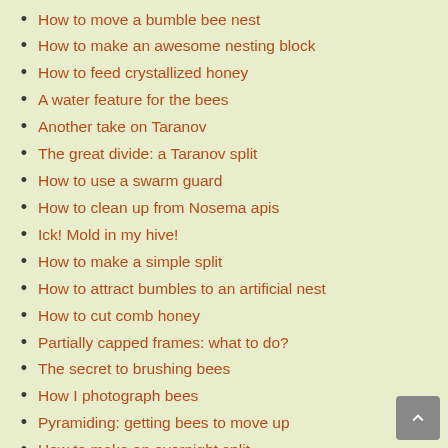How to move a bumble bee nest
How to make an awesome nesting block
How to feed crystallized honey
A water feature for the bees
Another take on Taranov
The great divide: a Taranov split
How to use a swarm guard
How to clean up from Nosema apis
Ick! Mold in my hive!
How to make a simple split
How to attract bumbles to an artificial nest
How to cut comb honey
Partially capped frames: what to do?
The secret to brushing bees
How I photograph bees
Pyramiding: getting bees to move up
How to make an overnight split
Managing packages and swarms
Seven types of beekeeping advice to avoid
How to build a native bee block
Another rendition of rendering beeswax